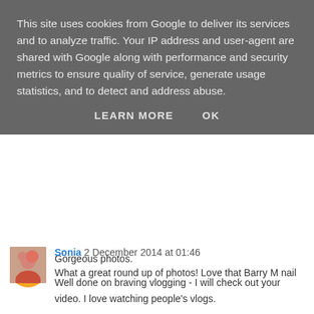This site uses cookies from Google to deliver its services and to analyze traffic. Your IP address and user-agent are shared with Google along with performance and security metrics to ensure quality of service, generate usage statistics, and to detect and address abuse.
LEARN MORE   OK
Gorgeous photos.
Well done on braving vlogging - I will check out your video. I love watching people's vlogs.

Thanks for joining in with our #HappyDaysLinky

Jenna at Tinyfootsteps xx
Reply
Sonia 2 December 2014 at 01:46
What a great round up of photos! Love that Barry M nail